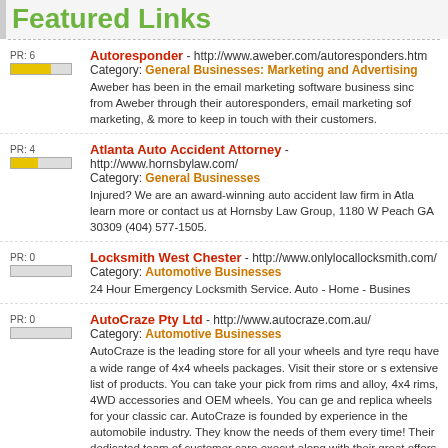Featured Links
PR: 6 | Autoresponder - http://www.aweber.com/autoresponders.htm | Category: General Businesses: Marketing and Advertising | Aweber has been in the email marketing software business since from Aweber through their autoresponders, email marketing software marketing, & more to keep in touch with their customers.
PR: 4 | Atlanta Auto Accident Attorney - http://www.hornsbylaw.com/ | Category: General Businesses | Injured? We are an award-winning auto accident law firm in Atlanta learn more or contact us at Hornsby Law Group, 1180 W Peach GA 30309 (404) 577-1505.
PR: 0 | Locksmith West Chester - http://www.onlylocallocksmith.com/ | Category: Automotive Businesses | 24 Hour Emergency Locksmith Service. Auto - Home - Business
PR: 0 | AutoCraze Pty Ltd - http://www.autocraze.com.au/ | Category: Automotive Businesses | AutoCraze is the leading store for all your wheels and tyre requirements. They have a wide range of 4x4 wheels packages. Visit their store or see their extensive list of products. You can take your pick from rims and alloy, 4x4 rims, 4WD accessories and OEM wheels. You can get and replica wheels for your classic car. AutoCraze is founded by experience in the automobile industry. They know the needs of them every time! Their dedicated team of customer care executives along with their great offers have made them the leading automotive...